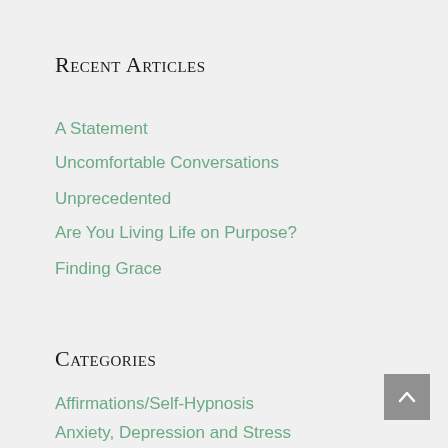Recent Articles
A Statement
Uncomfortable Conversations
Unprecedented
Are You Living Life on Purpose?
Finding Grace
Categories
Affirmations/Self-Hypnosis
Anxiety, Depression and Stress